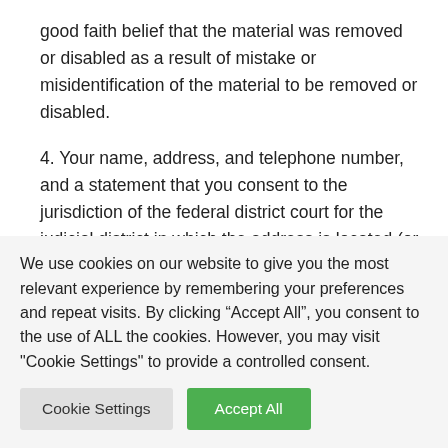good faith belief that the material was removed or disabled as a result of mistake or misidentification of the material to be removed or disabled.
4. Your name, address, and telephone number, and a statement that you consent to the jurisdiction of the federal district court for the judicial district in which the address is located (or if you are outside of the United States, that you consent to jurisdiction of any judicial district in which the service provider may be found), and
We use cookies on our website to give you the most relevant experience by remembering your preferences and repeat visits. By clicking “Accept All”, you consent to the use of ALL the cookies. However, you may visit "Cookie Settings" to provide a controlled consent.